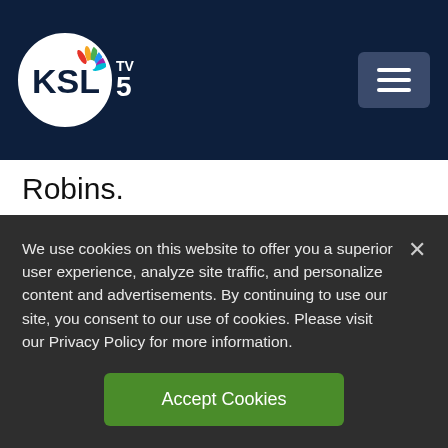[Figure (logo): KSL TV 5 NBC logo with hamburger menu button on dark navy header bar]
Robins.
Lehi City officials said they are working on putting up more visible signage before Pioneer Day. But for now, community members were putting up their own to warn
We use cookies on this website to offer you a superior user experience, analyze site traffic, and personalize content and advertisements. By continuing to use our site, you consent to our use of cookies. Please visit our Privacy Policy for more information.
Accept Cookies